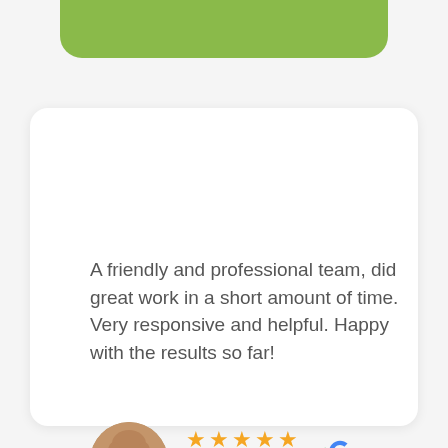[Figure (illustration): Green rounded bar at top of page, partially visible]
A friendly and professional team, did great work in a short amount of time. Very responsive and helpful. Happy with the results so far!
[Figure (photo): Circular profile photo of a woman with blonde hair smiling]
★★★★★
a year ago
Adri Neethling
[Figure (logo): Google G logo in red, yellow, green, blue colors]